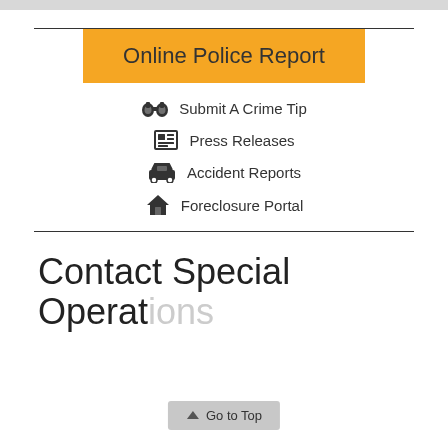Online Police Report
Submit A Crime Tip
Press Releases
Accident Reports
Foreclosure Portal
Contact Special Operations